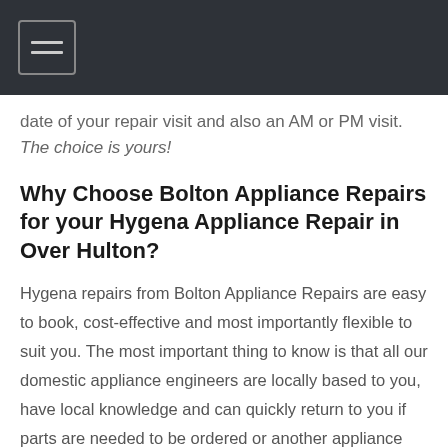date of your repair visit and also an AM or PM visit. The choice is yours!
Why Choose Bolton Appliance Repairs for your Hygena Appliance Repair in Over Hulton?
Hygena repairs from Bolton Appliance Repairs are easy to book, cost-effective and most importantly flexible to suit you. The most important thing to know is that all our domestic appliance engineers are locally based to you, have local knowledge and can quickly return to you if parts are needed to be ordered or another appliance fault arises even on another appliance. Most of our domestic appliance engineers are employed directly with us but in areas where we do not have this cover we use a local appliance engineer that has been carefully chosen and